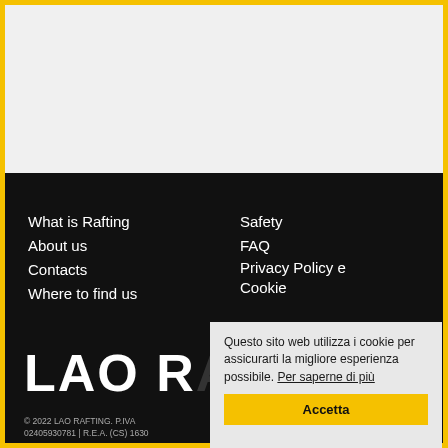[Figure (screenshot): Top light gray section of website screenshot with yellow border]
What is Rafting
About us
Contacts
Where to find us
Safety
FAQ
Privacy Policy e Cookie
LAO RAFTING
© 2022 LAO RAFTING. P.IVA 02405930781 | R.E.A. (CS) 1630
Questo sito web utilizza i cookie per assicurarti la migliore esperienza possibile. Per saperne di più
Accetta